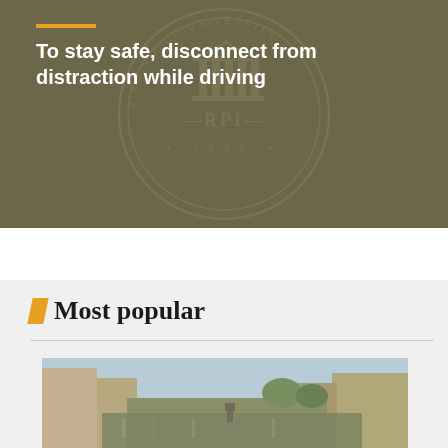[Figure (photo): Dark olive/khaki background with RPI (Rensselaer Polytechnic Institute) university seal watermark showing circular seal with text 'VIRGINIA CO... UNIVERSITY', 'RPI' in center and '1838' at bottom]
To stay safe, disconnect from distraction while driving
Most popular
[Figure (photo): Outdoor street scene showing a crowd of people, appears to be a protest or demonstration on a city street with buildings on either side and trees visible]